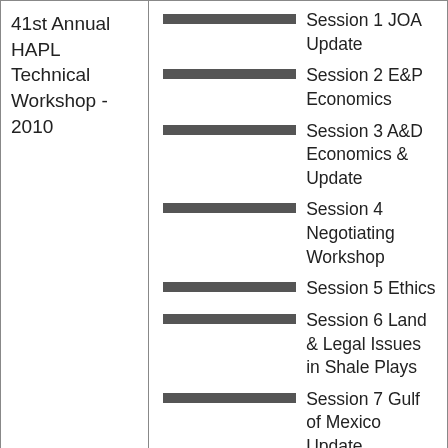41st Annual HAPL Technical Workshop - 2010
Session 1 JOA Update
Session 2 E&P Economics
Session 3 A&D Economics & Update
Session 4 Negotiating Workshop
Session 5 Ethics
Session 6 Land & Legal Issues in Shale Plays
Session 7 Gulf of Mexico Update
Session 1 Pooling and Unitization in Texas and Louisiana
Session 2 Marcellus – Controls on a Multi-Flavored